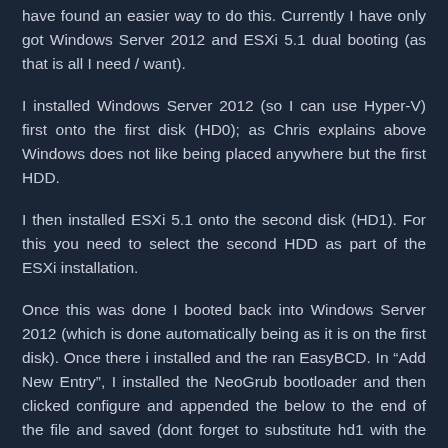have found an easier way to do this. Currently I have only got Windows Server 2012 and ESXi 5.1 dual booting (as that is all I need / want).
I installed Windows Server 2012 (so I can use Hyper-V) first onto the first disk (HD0); as Chris explains above Windows does not like being placed anywhere but the first HDD.
I then installed ESXi 5.1 onto the second disk (HD1). For this you need to select the second HDD as part of the ESXi installation.
Once this was done I booted back into Windows Server 2012 (which is done automatically being as it is on the first disk). Once there i installed and the ran EasyBCD. In “Add New Entry”, I installed the NeoGrub bootloader and then clicked configure and appended the below to the end of the file and saved (dont forget to substitute hd1 with the drive you installed ESXi on if different to the second disk).
default 0